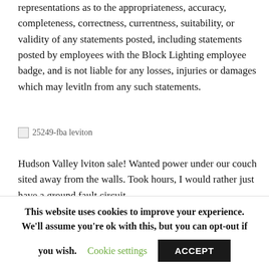representations as to the appropriateness, accuracy, completeness, correctness, currentness, suitability, or validity of any statements posted, including statements posted by employees with the Block Lighting employee badge, and is not liable for any losses, injuries or damages which may levitln from any such statements.
[Figure (other): Broken image placeholder with alt text '25249-fba leviton']
Hudson Valley lviton sale! Wanted power under our couch sited away from the walls. Took hours, I would rather just have a ground fault circuit...
This website uses cookies to improve your experience. We'll assume you're ok with this, but you can opt-out if you wish. Cookie settings ACCEPT